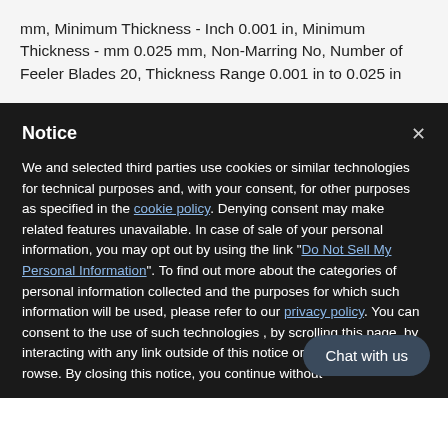mm, Minimum Thickness - Inch 0.001 in, Minimum Thickness - mm 0.025 mm, Non-Marring No, Number of Feeler Blades 20, Thickness Range 0.001 in to 0.025 in
Notice
We and selected third parties use cookies or similar technologies for technical purposes and, with your consent, for other purposes as specified in the cookie policy. Denying consent may make related features unavailable. In case of sale of your personal information, you may opt out by using the link "Do Not Sell My Personal Information". To find out more about the categories of personal information collected and the purposes for which such information will be used, please refer to our privacy policy. You can consent to the use of such technologies , by scrolling this page, by interacting with any li... outside of this notice or by continuing to b... By closing this notice, you continue withou...